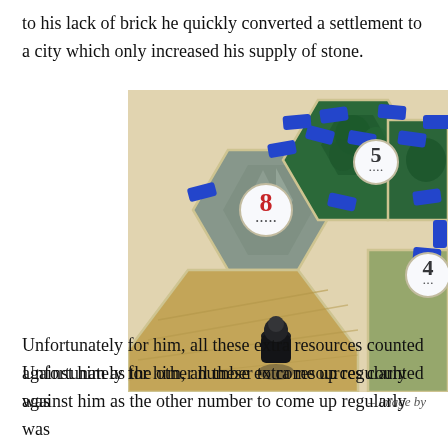to his lack of brick he quickly converted a settlement to a city which only increased his supply of stone.
[Figure (photo): Close-up photograph of a Settlers of Catan board game showing hexagonal tiles with blue settlements/cities, number tokens (8, 5, 4), and a black robber piece on a wood/grain tile]
– Image by
Unfortunately for him, all these extra resources counted against him as the other number to come up regularly was seven, so meaning the robber was moved and everyone had